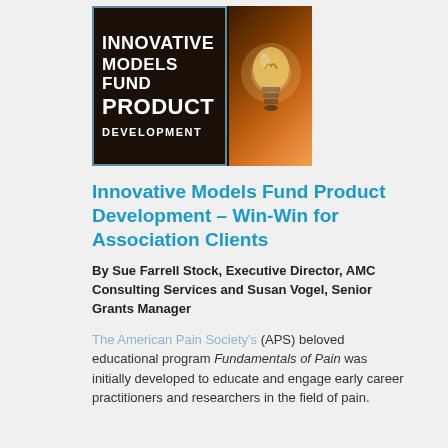[Figure (illustration): Banner image for 'Innovative Models Fund Product Development' showing bold white text on dark background (left side) and a glowing lightbulb on warm brown/orange background (right side)]
Innovative Models Fund Product Development – Win-Win for Association Clients
By Sue Farrell Stock, Executive Director, AMC Consulting Services and Susan Vogel, Senior Grants Manager
The American Pain Society's (APS) beloved educational program Fundamentals of Pain was initially developed to educate and engage early career practitioners and researchers in the field of pain.